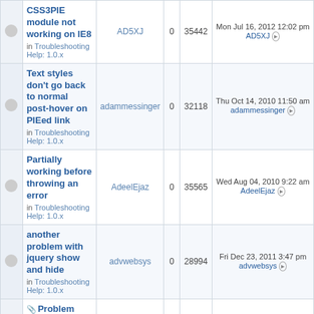|  | Topic | Author | Replies | Views | Last Post |
| --- | --- | --- | --- | --- | --- |
|  | CSS3PIE module not working on IE8 in Troubleshooting Help: 1.0.x | AD5XJ | 0 | 35442 | Mon Jul 16, 2012 12:02 pm AD5XJ |
|  | Text styles don't go back to normal post-hover on PIEed link in Troubleshooting Help: 1.0.x | adammessinger | 0 | 32118 | Thu Oct 14, 2010 11:50 am adammessinger |
|  | Partially working before throwing an error in Troubleshooting Help: 1.0.x | AdeelEjaz | 0 | 35565 | Wed Aug 04, 2010 9:22 am AdeelEjaz |
|  | another problem with jquery show and hide in Troubleshooting Help: 1.0.x | advwebsys | 0 | 28994 | Fri Dec 23, 2011 3:47 pm advwebsys |
|  | Problem with Border property and |  |  |  | Tue Sep 04, 2012 |